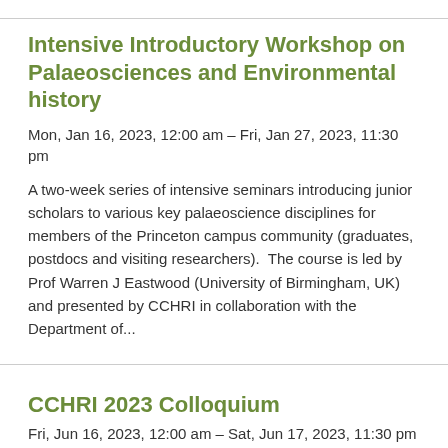Intensive Introductory Workshop on Palaeosciences and Environmental history
Mon, Jan 16, 2023, 12:00 am – Fri, Jan 27, 2023, 11:30 pm
A two-week series of intensive seminars introducing junior scholars to various key palaeoscience disciplines for members of the Princeton campus community (graduates, postdocs and visiting researchers).  The course is led by Prof Warren J Eastwood (University of Birmingham, UK) and presented by CCHRI in collaboration with the Department of...
CCHRI 2023 Colloquium
Fri, Jun 16, 2023, 12:00 am – Sat, Jun 17, 2023, 11:30 pm